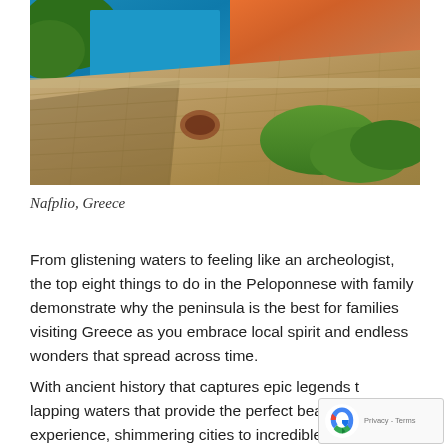[Figure (photo): Aerial view of Nafplio, Greece showing ancient stone fortress walls with turquoise sea and colorful city buildings in the background]
Nafplio, Greece
From glistening waters to feeling like an archeologist, the top eight things to do in the Peloponnese with family demonstrate why the peninsula is the best for families visiting Greece as you embrace local spirit and endless wonders that spread across time.
With ancient history that captures epic legends to lapping waters that provide the perfect beach experience, shimmering cities to incredible castles, no